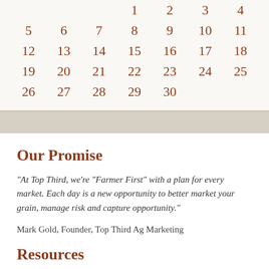|  |  |  |  |  |  |  |
|  |  |  | 1 | 2 | 3 | 4 |
| 5 | 6 | 7 | 8 | 9 | 10 | 11 |
| 12 | 13 | 14 | 15 | 16 | 17 | 18 |
| 19 | 20 | 21 | 22 | 23 | 24 | 25 |
| 26 | 27 | 28 | 29 | 30 |  |  |
Our Promise
“At Top Third, we’re “Farmer First” with a plan for every market. Each day is a new opportunity to better market your grain, manage risk and capture opportunity.”
Mark Gold, Founder, Top Third Ag Marketing
Resources